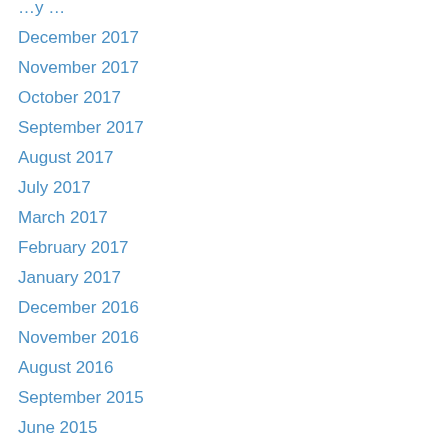December 2017
November 2017
October 2017
September 2017
August 2017
July 2017
March 2017
February 2017
January 2017
December 2016
November 2016
August 2016
September 2015
June 2015
April 2015
March 2015
January 2015
December 2014
November 2014
October 2014